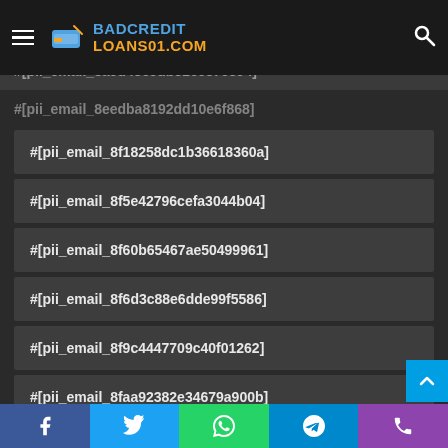BADCREDIT LOANS01.COM
#[pii_email_8a9d4369db3160370394]
#[pii_email_8eedba8192dd10e6f868]
#[pii_email_8f18258dc1b36618360a]
#[pii_email_8f5e42796cefa3044b04]
#[pii_email_8f60b65467ae50499961]
#[pii_email_8f6d3c88e6dde99f5586]
#[pii_email_8f9c4447709c40f01262]
#[pii_email_8faa92382e34679a900b]
#[pii_email_8fac9ab2d973e77c2bb9]